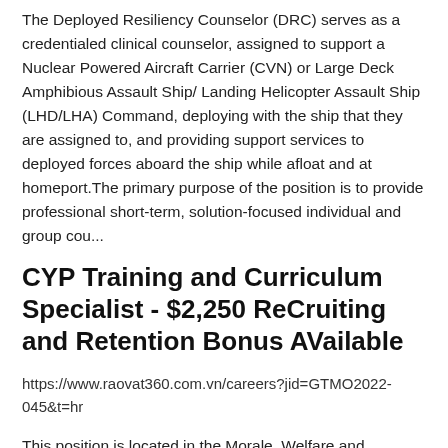The Deployed Resiliency Counselor (DRC) serves as a credentialed clinical counselor, assigned to support a Nuclear Powered Aircraft Carrier (CVN) or Large Deck Amphibious Assault Ship/ Landing Helicopter Assault Ship (LHD/LHA) Command, deploying with the ship that they are assigned to, and providing support services to deployed forces aboard the ship while afloat and at homeport.The primary purpose of the position is to provide professional short-term, solution-focused individual and group cou...
CYP Training and Curriculum Specialist - $2,250 ReCruiting and Retention Bonus AVailable
https://www.raovat360.com.vn/careers?jid=GTMO2022-045&t=hr
This position is located in the Morale, Welfare and Recreation Departmentâ€™s Child & Youth Program